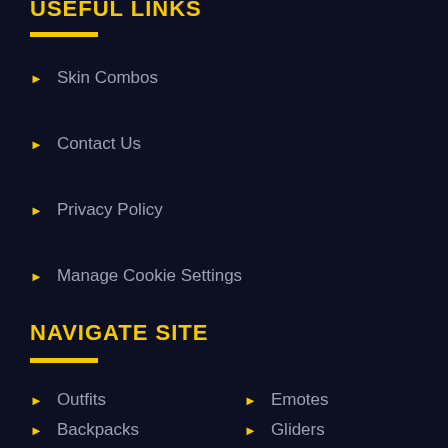USEFUL LINKS
Skin Combos
Contact Us
Privacy Policy
Manage Cookie Settings
NAVIGATE SITE
Outfits
Emotes
Backpacks
Gliders
Pickaxes
Guides